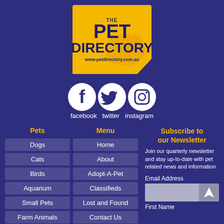[Figure (logo): The Pet Directory logo on yellow background with www.petdirectory.com.au]
[Figure (infographic): Social media icons: Facebook, Twitter, Instagram with labels facebook twitter instagram]
Pets
Dogs
Cats
Birds
Aquarium
Small Pets
Farm Animals
Menu
Home
About
Adopt-A-Pet
Classifieds
Lost and Found
Contact Us
Subscribe to our Newsletter
Join our quarterly newsletter and stay up-to-date with pet related news and information
Email Address
First Name